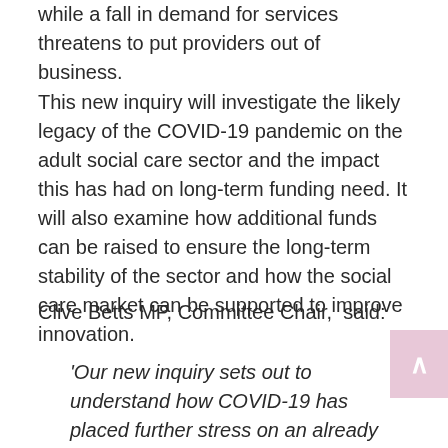while a fall in demand for services threatens to put providers out of business.
This new inquiry will investigate the likely legacy of the COVID-19 pandemic on the adult social care sector and the impact this has had on long-term funding need. It will also examine how additional funds can be raised to ensure the long-term stability of the sector and how the social care market can be supported to improve innovation.
Clive Betts MP, Committee Chair,  said:
'Our new inquiry sets out to understand how COVID-19 has placed further stress on an already challenging environment, and the likely long-term consequences for adult social care. Given the likely long-term financial implications of the pandemic on society as a whole, we will also reconsider how